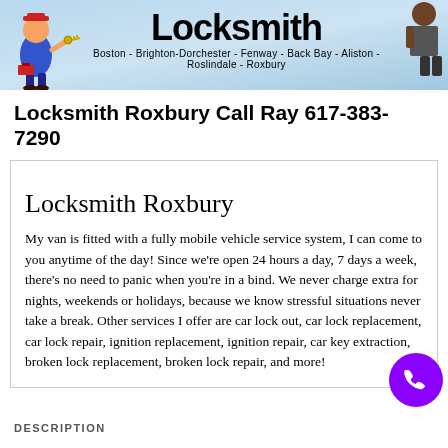[Figure (illustration): Locksmith service banner with cartoon locksmith figure on left holding keys, text 'Locksmith' in large bold font center, person figure on right, and subtitle listing service areas: Boston - Brighton-Dorchester - Fenway - Back Bay - Aliston - Roslindale - Roxbury]
Locksmith Roxbury Call Ray 617-383-7290
Locksmith Roxbury
My van is fitted with a fully mobile vehicle service system, I can come to you anytime of the day! Since we're open 24 hours a day, 7 days a week, there's no need to panic when you're in a bind. We never charge extra for nights, weekends or holidays, because we know stressful situations never take a break. Other services I offer are car lock out, car lock replacement, car lock repair, ignition replacement, ignition repair, car key extraction, broken lock replacement, broken lock repair, and more!
DESCRIPTION